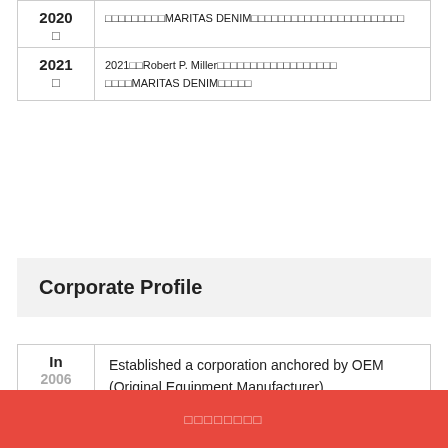| Year | Event |
| --- | --- |
| 2020 □ | □□□□□□□□□MARITAS DENIM□□□□□□□□□□□□□□□□□□□□□□□ |
| 2021 □ | 2021□□Robert P. Miller□□□□□□□□□□□□□□□□□□ □□□□MARITAS DENIM□□□□□ |
Corporate Profile
| Year | Description |
| --- | --- |
| In
2006 | Established a corporation anchored by OEM (Original Equipment Manufacturer). |
□□□□□□□□